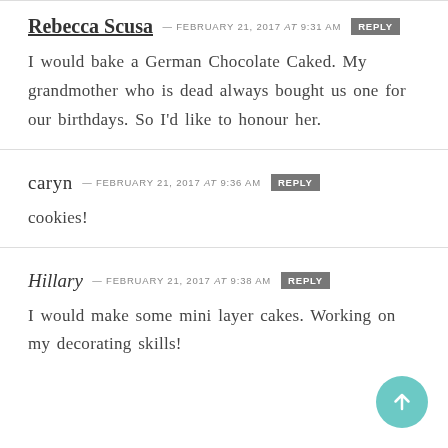Rebecca Scusa — FEBRUARY 21, 2017 at 9:31 AM  REPLY
I would bake a German Chocolate Caked. My grandmother who is dead always bought us one for our birthdays. So I'd like to honour her.
caryn — FEBRUARY 21, 2017 at 9:36 AM  REPLY
cookies!
Hillary — FEBRUARY 21, 2017 at 9:38 AM  REPLY
I would make some mini layer cakes. Working on my decorating skills!